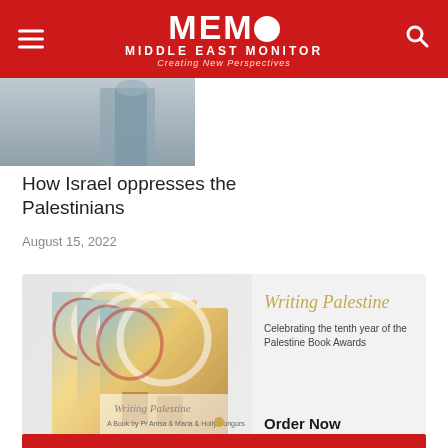MEMO - MIDDLE EAST MONITOR - Creating New Perspectives
[Figure (photo): Grayscale photo of a person, partial view, used as article thumbnail image]
How Israel oppresses the Palestinians
August 15, 2022
[Figure (illustration): Advertisement banner for 'Writing Palestine' book - Palestine Book Awards. Shows stacked book covers with colorful artwork. Text: Writing Palestine, Celebrating the tenth year of the Palestine Book Awards, Order Now.]